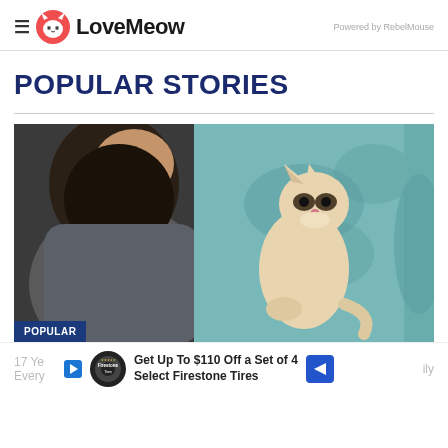LoveMeow — Powered by RebelMouse
POPULAR STORIES
[Figure (photo): A bearded man in a grey t-shirt with a small cream-colored kitten sitting up and looking at him, with teal bedding in the background. A 'POPULAR' badge is in the bottom-left corner.]
17 Ye... Every... Get Up To $110 Off a Set of 4 Select Firestone Tires (advertisement) ...ily